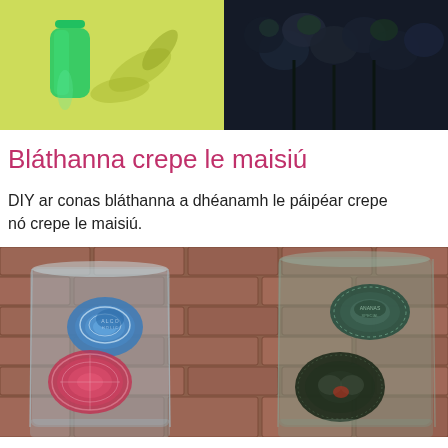[Figure (photo): Two photos side by side at the top: left shows a green plastic bottle with leaf shadows on a yellow-green background; right shows dark navy/black flowers or fabric flowers on a dark background.]
Bláthanna crepe le maisiú
DIY ar conas bláthanna a dhéanamh le páipéar crepe nó crepe le maisiú.
[Figure (photo): Photo of two glass cups/tumblers with decorative patterned stones or coasters featuring blue and red/brown circular patterns, placed against a brick wall background.]